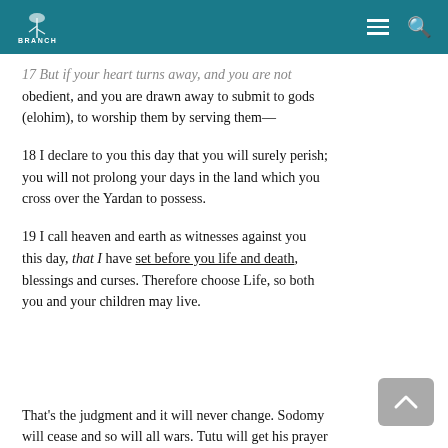BRANCH
17 But if your heart turns away, and you are not obedient, and you are drawn away to submit to gods (elohim), to worship them by serving them—
18 I declare to you this day that you will surely perish; you will not prolong your days in the land which you cross over the Yardan to possess.
19 I call heaven and earth as witnesses against you this day, that I have set before you life and death, blessings and curses. Therefore choose Life, so both you and your children may live.
That's the judgment and it will never change. Sodomy will cease and so will all wars. Tutu will get his prayer